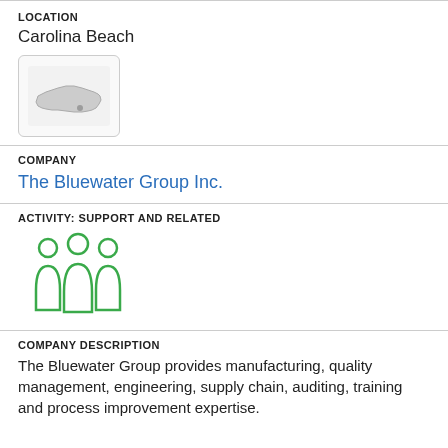LOCATION
Carolina Beach
[Figure (map): Map thumbnail showing the outline of North Carolina state with a location marker near Carolina Beach]
COMPANY
The Bluewater Group Inc.
ACTIVITY: SUPPORT AND RELATED
[Figure (illustration): Green icon of three people/group silhouettes representing a team or organization]
COMPANY DESCRIPTION
The Bluewater Group provides manufacturing, quality management, engineering, supply chain, auditing, training and process improvement expertise.